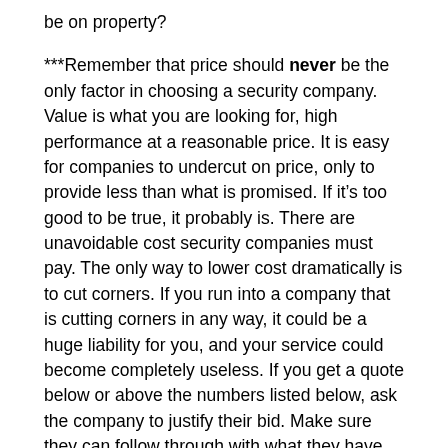be on property?
***Remember that price should never be the only factor in choosing a security company. Value is what you are looking for, high performance at a reasonable price. It is easy for companies to undercut on price, only to provide less than what is promised. If it’s too good to be true, it probably is. There are unavoidable cost security companies must pay. The only way to lower cost dramatically is to cut corners. If you run into a company that is cutting corners in any way, it could be a huge liability for you, and your service could become completely useless. If you get a quote below or above the numbers listed below, ask the company to justify their bid. Make sure they can follow through with what they have promised***
All that being said here are the numbers. If you require only 1 or 2 vehicle patrols per night you could be looking at as little as $300-$400 per month on the low